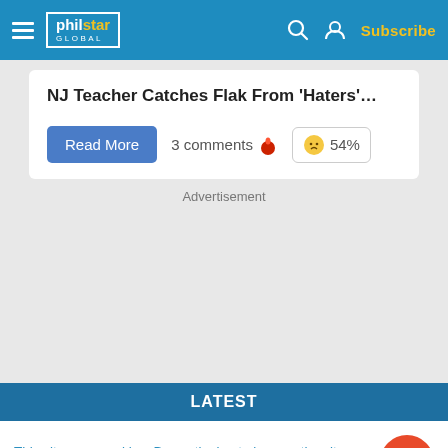philstar GLOBAL
NJ Teacher Catches Flak From 'Haters'...
Read More   3 comments   54%
Advertisement
LATEST
This site uses cookies. By continuing to browse the site, you are agreeing to our use of cookies.